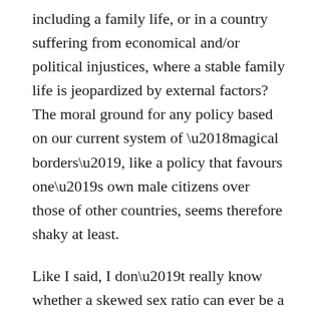including a family life, or in a country suffering from economical and/or political injustices, where a stable family life is jeopardized by external factors? The moral ground for any policy based on our current system of ‘magical borders’, like a policy that favours one’s own male citizens over those of other countries, seems therefore shaky at least.
Like I said, I don’t really know whether a skewed sex ratio can ever be a good enough reason to limit the amount of male newcomers. There are reasonable arguments for both positions and a lot, probably, hinges on empirical knowledge of the precise effects. Nevertheless, the danger for social and political stability that bad sex ratios generate points to two less drastic